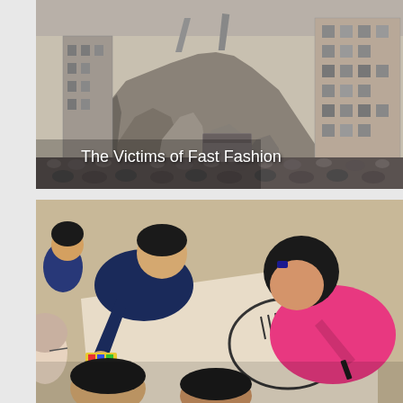[Figure (photo): Aerial view of a collapsed multi-story building with rubble and crowds of people surrounding the site. Text overlay reads 'The Victims of Fast Fashion'.]
[Figure (photo): Children gathered on a floor drawing on a large piece of paper. A person in pink leans over writing, others watch around a colorful drawing activity.]